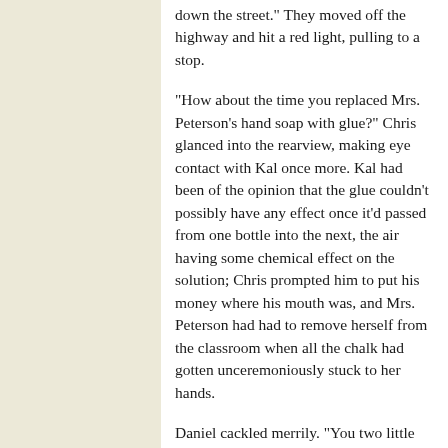down the street." They moved off the highway and hit a red light, pulling to a stop.
"How about the time you replaced Mrs. Peterson's hand soap with glue?" Chris glanced into the rearview, making eye contact with Kal once more. Kal had been of the opinion that the glue couldn't possibly have any effect once it'd passed from one bottle into the next, the air having some chemical effect on the solution; Chris prompted him to put his money where his mouth was, and Mrs. Peterson had had to remove herself from the classroom when all the chalk had gotten unceremoniously stuck to her hands.
Daniel cackled merrily. "You two little assholes. I almost feel bad for your teachers. I mean points for